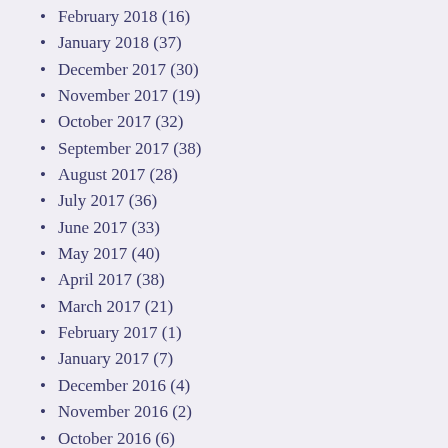February 2018 (16)
January 2018 (37)
December 2017 (30)
November 2017 (19)
October 2017 (32)
September 2017 (38)
August 2017 (28)
July 2017 (36)
June 2017 (33)
May 2017 (40)
April 2017 (38)
March 2017 (21)
February 2017 (1)
January 2017 (7)
December 2016 (4)
November 2016 (2)
October 2016 (6)
August 2016 (3)
July 2016 (5)
June 2016 (2)
May 2016 (4)
April 2016 (6)